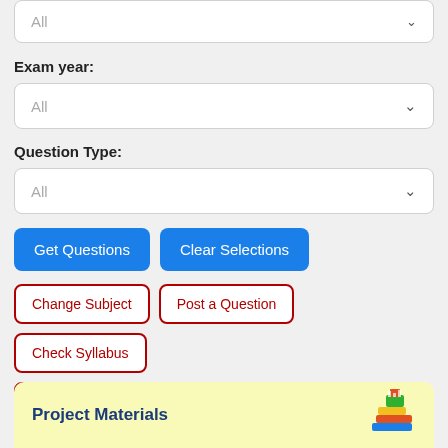[Figure (screenshot): Dropdown selector showing 'All' with chevron arrow at top]
Exam year:
[Figure (screenshot): Dropdown selector showing 'All' with chevron arrow for Exam year]
Question Type:
[Figure (screenshot): Dropdown selector showing 'All' with chevron arrow for Question Type]
Get Questions
Clear Selections
Change Subject
Post a Question
Check Syllabus
Study My Bookmarks
Past Questions Videos
Watch Video Lessons
Download App
Project Materials